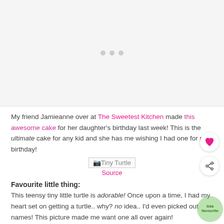[Figure (photo): Large image placeholder area with three gray dots centered, representing a loading or missing image]
My friend Jamieanne over at The Sweetest Kitchen made this awesome cake for her daughter's birthday last week! This is the ultimate cake for any kid and she has me wishing I had one for my birthday!
[Figure (other): Tiny Turtle image placeholder with broken image icon and alt text 'Tiny Turtle']
Source
Favourite little thing:
This teensy tiny little turtle is adorable! Once upon a time, I had my heart set on getting a turtle.. why? no idea.. I'd even picked out names! This picture made me want one all over again!